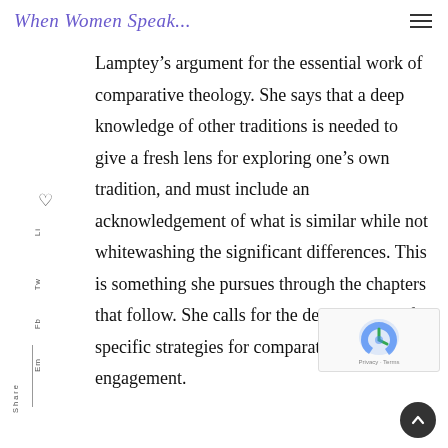When Women Speak...
Lamptey’s argument for the essential work of comparative theology. She says that a deep knowledge of other traditions is needed to give a fresh lens for exploring one’s own tradition, and must include an acknowledgement of what is similar while not whitewashing the significant differences. This is something she pursues through the chapters that follow. She calls for the development of specific strategies for comparative engagement.